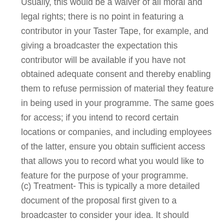Usually, this would be a waiver of all moral and legal rights; there is no point in featuring a contributor in your Taster Tape, for example, and giving a broadcaster the expectation this contributor will be available if you have not obtained adequate consent and thereby enabling them to refuse permission of material they feature in being used in your programme. The same goes for access; if you intend to record certain locations or companies, and including employees of the latter, ensure you obtain sufficient access that allows you to record what you would like to feature for the purpose of your programme.
(c) Treatment- This is typically a more detailed document of the proposal first given to a broadcaster to consider your idea. It should typically